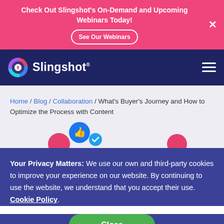Check Out Slingshot's On-Demand and Upcoming Webinars Today! See Our Webinars
[Figure (logo): Slingshot logo with colorful circular icon and white text on dark navy background]
Home / Blog / Collaboration / What's Buyer's Journey and How to Optimize the Process with Content
[Figure (illustration): Social reaction icons: thumbs up blue circle, pink circle, blue checkmark circle, pink circle on right]
Your Privacy Matters: We use our own and third-party cookies to improve your experience on our website. By continuing to use the website, we understand that you accept their use. Cookie Policy.
Close